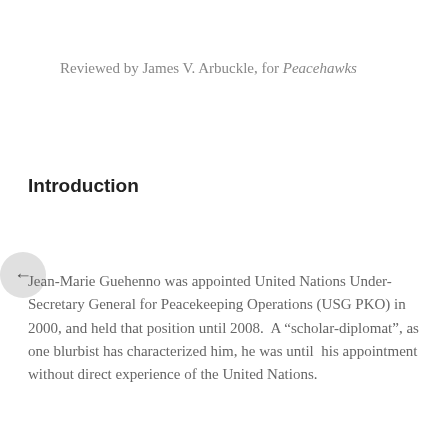Reviewed by James V. Arbuckle, for Peacehawks
Introduction
Jean-Marie Guehenno was appointed United Nations Under-Secretary General for Peacekeeping Operations (USG PKO) in 2000, and held that position until 2008.  A “scholar-diplomat”, as one blurbist has characterized him, he was until  his appointment without direct experience of the United Nations.